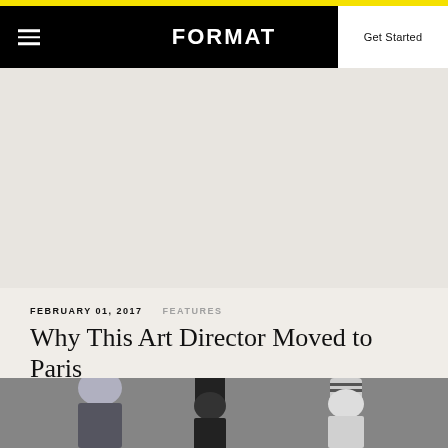FORMAT
Get Started
[Figure (photo): Large hero image area, mostly blank/off-white in this view]
FEBRUARY 01, 2017
FEATURES
Why This Art Director Moved to Paris
[Figure (photo): Bottom portion of a photo showing people in winter hats standing in front of a stone wall]